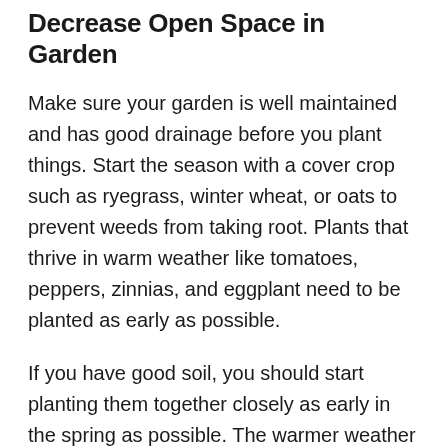Decrease Open Space in Garden
Make sure your garden is well maintained and has good drainage before you plant things. Start the season with a cover crop such as ryegrass, winter wheat, or oats to prevent weeds from taking root. Plants that thrive in warm weather like tomatoes, peppers, zinnias, and eggplant need to be planted as early as possible.
If you have good soil, you should start planting them together closely as early in the spring as possible. The warmer weather will encourage growth. After the growing season is complete, consider planting cover crops to keep weeds at bay for the winter. When you're ready to plant